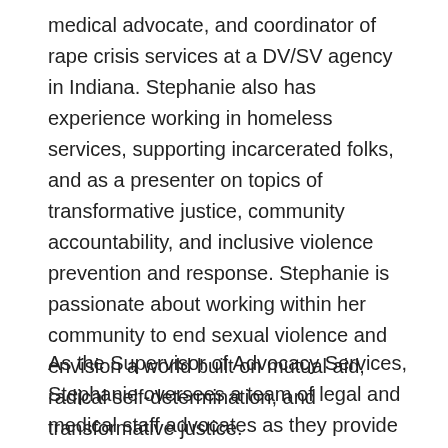medical advocate, and coordinator of rape crisis services at a DV/SV agency in Indiana. Stephanie also has experience working in homeless services, supporting incarcerated folks, and as a presenter on topics of transformative justice, community accountability, and inclusive violence prevention and response. Stephanie is passionate about working within her community to end sexual violence and envision a world built on mutual aid, radical self-determination, and transformative justice.
As the Supervisor of Advocacy Services, Stephanie oversees a team of legal and medical staff advocates as they provide support and